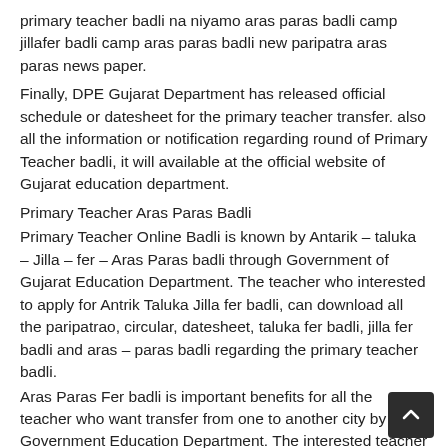primary teacher badli na niyamo aras paras badli camp jillafer badli camp aras paras badli new paripatra aras paras news paper.
Finally, DPE Gujarat Department has released official schedule or datesheet for the primary teacher transfer. also all the information or notification regarding round of Primary Teacher badli, it will available at the official website of Gujarat education department.
Primary Teacher Aras Paras Badli
Primary Teacher Online Badli is known by Antarik – taluka – Jilla – fer – Aras Paras badli through Government of Gujarat Education Department. The teacher who interested to apply for Antrik Taluka Jilla fer badli, can download all the paripatrao, circular, datesheet, taluka fer badli, jilla fer badli and aras – paras badli regarding the primary teacher badli.
Aras Paras Fer badli is important benefits for all the teacher who want transfer from one to another city by Government Education Department. The interested teacher can search Vidhya Sahayak Online Badli Paripatra, Primary Teacher